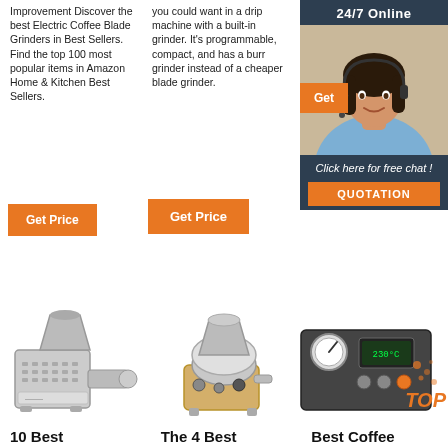Improvement Discover the best Electric Coffee Blade Grinders in Best Sellers. Find the top 100 most popular items in Amazon Home & Kitchen Best Sellers.
you could want in a drip machine with a built-in grinder. It's programmable, compact, and has a burr grinder instead of a cheaper blade grinder.
Smeg. You can grind coffee directly into your espresso filter/cup or into a ...
[Figure (infographic): Chat support sidebar with '24/7 Online' header, photo of a woman wearing a headset, 'Get' button in orange, 'Click here for free chat!' text, and orange 'QUOTATION' button, all on dark blue background]
Get Price
Get Price
[Figure (photo): Industrial coffee grinder machine, metallic, with hopper on top]
[Figure (photo): Small coffee roaster machine, shiny metallic]
[Figure (photo): Coffee roasting equipment with pressure gauge and digital display, with orange TOP badge]
10 Best
The 4 Best
Best Coffee